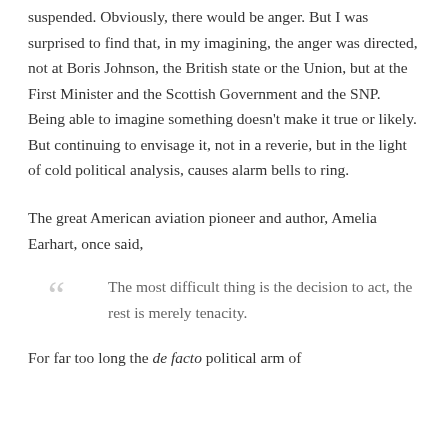suspended. Obviously, there would be anger. But I was surprised to find that, in my imagining, the anger was directed, not at Boris Johnson, the British state or the Union, but at the First Minister and the Scottish Government and the SNP. Being able to imagine something doesn't make it true or likely. But continuing to envisage it, not in a reverie, but in the light of cold political analysis, causes alarm bells to ring.
The great American aviation pioneer and author, Amelia Earhart, once said,
The most difficult thing is the decision to act, the rest is merely tenacity.
For far too long the de facto political arm of